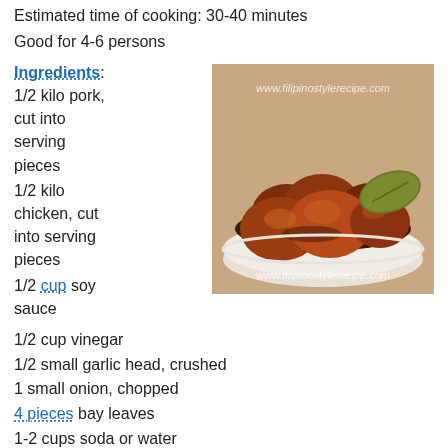Estimated time of cooking: 30-40 minutes
Good for 4-6 persons
Ingredients:
1/2 kilo pork, cut into serving pieces
[Figure (photo): A bowl of Filipino pork and chicken adobo - braised meat pieces with dark brown sauce and a bay leaf, served in a white bowl. Watermark: www.filipinostylerecipe.com]
1/2 kilo chicken, cut into serving pieces
1/2 cup soy sauce
1/2 cup vinegar
1/2 small garlic head, crushed
1 small onion, chopped
4 pieces bay leaves
1-2 cups soda or water